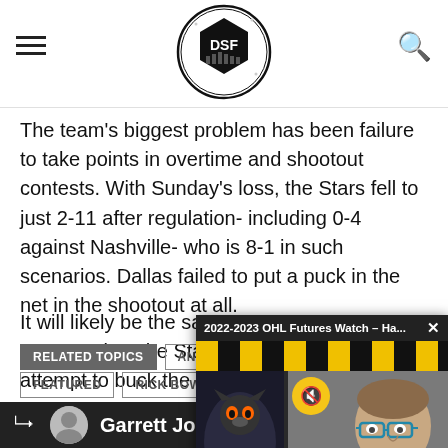Dallas Sports Fanatic (DSF) — logo, hamburger menu, search icon
The team's biggest problem has been failure to take points in overtime and shootout contests. With Sunday's loss, the Stars fell to just 2-11 after regulation- including 0-4 against Nashville- who is 8-1 in such scenarios. Dallas failed to put a puck in the net in the shootout at all.
It will likely be the same personnel as the Stars attempt to buck the negative fortune and salvage a third-straig…
[Figure (screenshot): Video popup overlay: '2022-2023 OHL Futures Watch – Ha...' with a man wearing glasses on screen, yellow and black hockey branding, mute button, close button]
RELATED TOPICS
ANT…
FEATURED
RICK BOWM…
Garrett Jo…